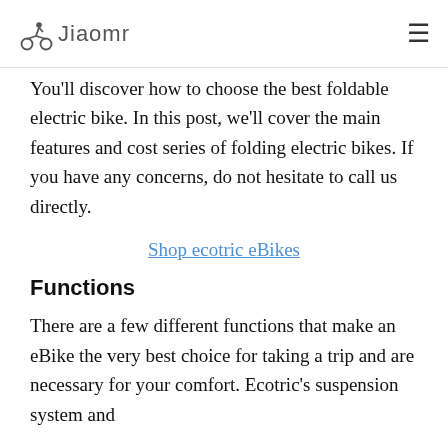Jiaomr
You'll discover how to choose the best foldable electric bike. In this post, we'll cover the main features and cost series of folding electric bikes. If you have any concerns, do not hesitate to call us directly.
Shop ecotric eBikes
Functions
There are a few different functions that make an eBike the very best choice for taking a trip and are necessary for your comfort. Ecotric's suspension system and